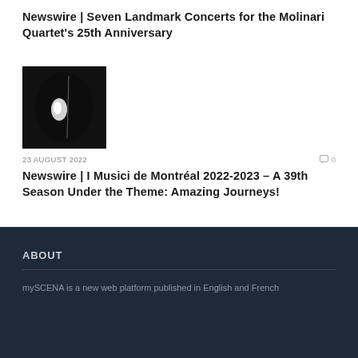Newswire | Seven Landmark Concerts for the Molinari Quartet's 25th Anniversary
[Figure (photo): A dark, close-up photograph of a musical instrument (likely a violin or string instrument body), mostly black with a bright white glare/reflection in the center.]
23 AUGUST 2022
0
Newswire | I Musici de Montréal 2022-2023 – A 39th Season Under the Theme: Amazing Journeys!
ABOUT
mySCENA is a new web platform published in English and French